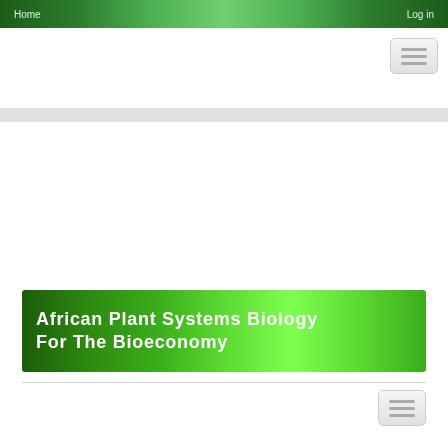Home    Log in
[Figure (screenshot): Hamburger menu button (three horizontal lines) in top-right area below nav bar]
[Figure (screenshot): Gray horizontal divider stripe across full width]
African Plant Systems Biology For The Bioeconomy
[Figure (screenshot): Hamburger menu button (three horizontal lines) in lower-right area below title banner]